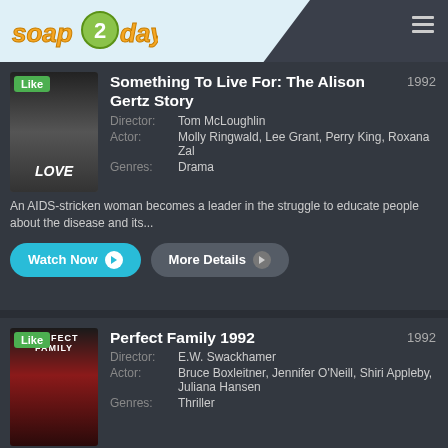soap 2 days
[Figure (screenshot): Movie card for 'Something To Live For: The Alison Gertz Story' with poster thumbnail labeled 'Like']
Something To Live For: The Alison Gertz Story
1992
Director: Tom McLoughlin
Actor: Molly Ringwald, Lee Grant, Perry King, Roxana Zal
Genres: Drama
An AIDS-stricken woman becomes a leader in the struggle to educate people about the disease and its...
Watch Now | More Details
[Figure (screenshot): Movie card for 'Perfect Family 1992' with poster thumbnail labeled 'Like']
Perfect Family 1992
1992
Director: E.W. Swackhamer
Actor: Bruce Boxleitner, Jennifer O'Neill, Shiri Appleby, Juliana Hansen
Genres: Thriller
Maggie a recent widow hires a housekeeper Janice to help her care for her two young daughters. With Janice comes her brother Allan who is an alcoholic. He is haunted by the deaths of...